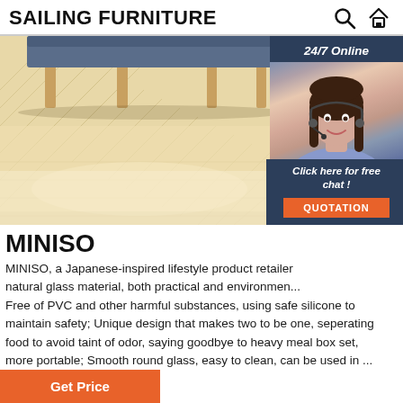SAILING FURNITURE
[Figure (photo): Room interior photo showing wooden herringbone floor and furniture legs (blue sofa/bench with wooden legs) with a customer support agent overlay panel on the right showing '24/7 Online' and 'Click here for free chat!' with a QUOTATION button]
MINISO
MINISO, a Japanese-inspired lifestyle product retailer natural glass material, both practical and environmental. Free of PVC and other harmful substances, using safe silicone to maintain safety; Unique design that makes two to be one, seperating food to avoid taint of odor, saying goodbye to heavy meal box set, more portable; Smooth round glass, easy to clean, can be used in ...
Get Price